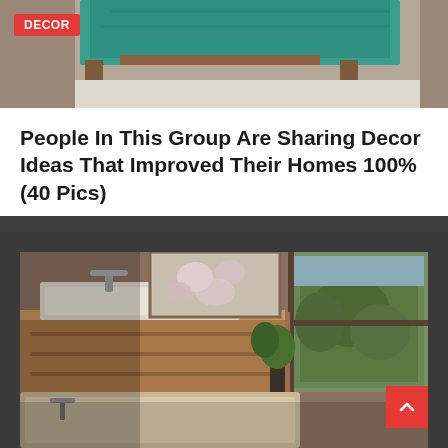[Figure (photo): Top portion of a room with teal/turquoise cushion or chair visible, wooden furniture legs, light-colored rug or floor. DECOR badge overlay in red.]
People In This Group Are Sharing Decor Ideas That Improved Their Homes 100% (40 Pics)
June 15, 2022 / muslik cakep
[Figure (photo): Interior bathroom or spa-like room with wooden cabinetry, a bathtub with faucet, large floral artwork on wall, glass window showing greenery outside, warm natural light. A red scroll-to-top arrow button is visible in the lower right corner.]